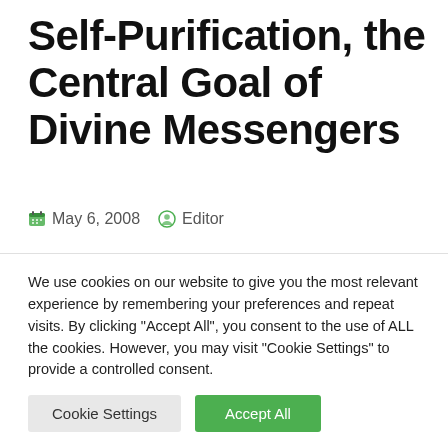Self-Purification, the Central Goal of Divine Messengers
May 6, 2008  Editor
Self-Purification, the Central Goal of Divine Messengers
Islam has attached special importance for moral ethics, and
We use cookies on our website to give you the most relevant experience by remembering your preferences and repeat visits. By clicking "Accept All", you consent to the use of ALL the cookies. However, you may visit "Cookie Settings" to provide a controlled consent.